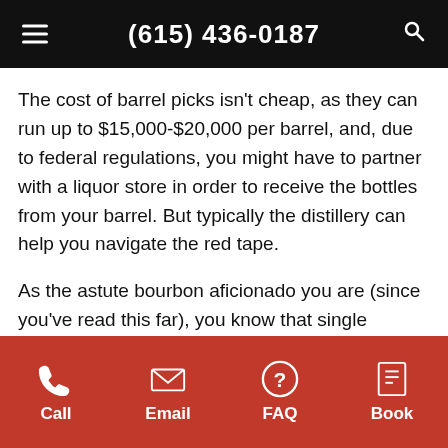(615) 436-0187
The cost of barrel picks isn't cheap, as they can run up to $15,000-$20,000 per barrel, and, due to federal regulations, you might have to partner with a liquor store in order to receive the bottles from your barrel. But typically the distillery can help you navigate the red tape.
As the astute bourbon aficionado you are (since you've read this far), you know that single barrels of whiskey can offer up vastly different flavor profiles from the original product. No two barrels are the same, even if they're sitting next to each other in the rickhouse.
And this is exactly why people clamor for the
Call  Email  FAQ  Book